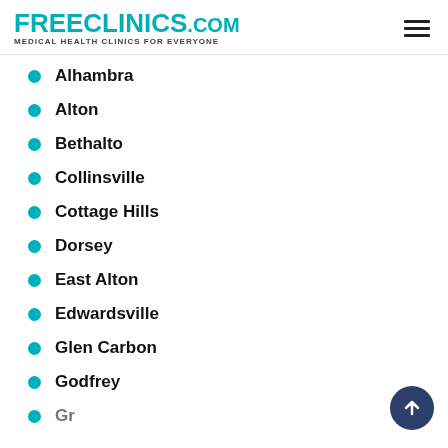FREECLINICS.COM — Medical Health Clinics For Everyone
Alhambra
Alton
Bethalto
Collinsville
Cottage Hills
Dorsey
East Alton
Edwardsville
Glen Carbon
Godfrey
Granite City